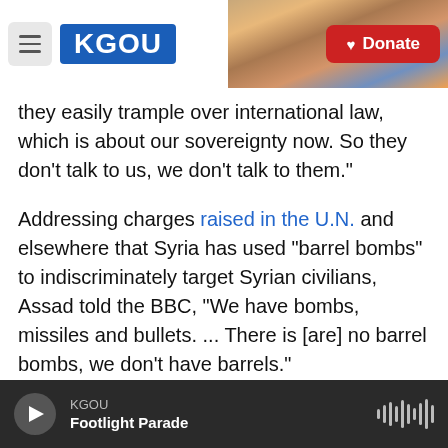KGOU [logo] Donate
they easily trample over international law, which is about our sovereignty now. So they don't talk to us, we don't talk to them."
Addressing charges raised in the U.N. and elsewhere that Syria has used "barrel bombs" to indiscriminately target Syrian civilians, Assad told the BBC, "We have bombs, missiles and bullets. ... There is [are] no barrel bombs, we don't have barrels."
The Syrian leader spoke as his country remains embroiled in what U.N. officials say is a crisis in which more than 12 million people in Syria need
KGOU | Footlight Parade